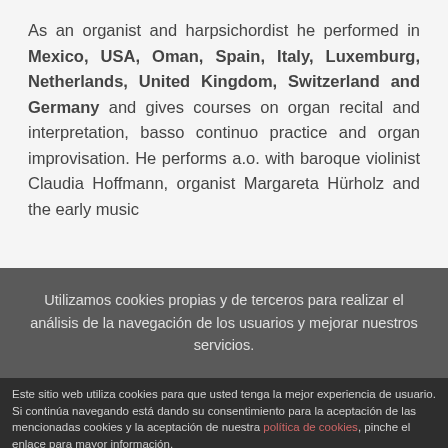As an organist and harpsichordist he performed in Mexico, USA, Oman, Spain, Italy, Luxemburg, Netherlands, United Kingdom, Switzerland and Germany and gives courses on organ recital and interpretation, basso continuo practice and organ improvisation. He performs a.o. with baroque violinist Claudia Hoffmann, organist Margareta Hürholz and the early music
Utilizamos cookies propias y de terceros para realizar el análisis de la navegación de los usuarios y mejorar nuestros servicios.
Este sitio web utiliza cookies para que usted tenga la mejor experiencia de usuario. Si continúa navegando está dando su consentimiento para la aceptación de las mencionadas cookies y la aceptación de nuestra política de cookies, pinche el enlace para mayor información.